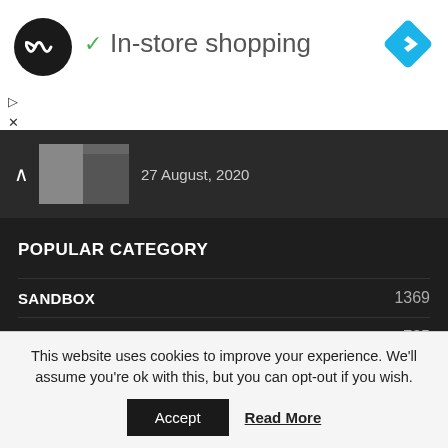[Figure (logo): Black circular logo with infinity-like symbol, plus small navigation diamond icon in blue on the right]
✓ In-store shopping
27 August, 2020
POPULAR CATEGORY
SANDBOX  1369
REVIEWS  735
COMICS  698
This website uses cookies to improve your experience. We'll assume you're ok with this, but you can opt-out if you wish.
Accept  Read More